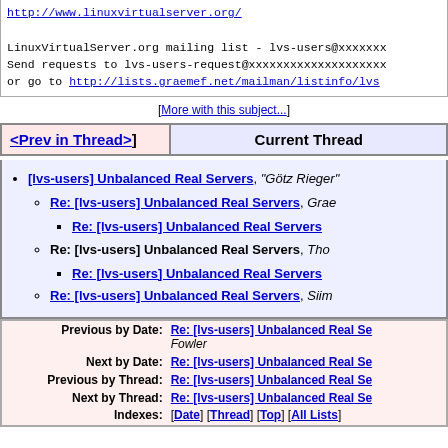Please read the documentation before posting - it's available.
http://www.linuxvirtualserver.org/

LinuxVirtualServer.org mailing list - lvs-users@xxxxxxx
Send requests to lvs-users-request@xxxxxxxxxxxxxxxxxxxx
or go to http://lists.graemef.net/mailman/listinfo/lvs
[More with this subject...]
| <Prev in Thread> | Current Thread |
| --- | --- |
[lvs-users] Unbalanced Real Servers, "Götz Rieger"
Re: [lvs-users] Unbalanced Real Servers, Grae
Re: [lvs-users] Unbalanced Real Servers
Re: [lvs-users] Unbalanced Real Servers, Tho
Re: [lvs-users] Unbalanced Real Servers
Re: [lvs-users] Unbalanced Real Servers, Siim
|  |  |
| --- | --- |
| Previous by Date: | Re: [lvs-users] Unbalanced Real Se
Fowler |
| Next by Date: | Re: [lvs-users] Unbalanced Real Se |
| Previous by Thread: | Re: [lvs-users] Unbalanced Real Se |
| Next by Thread: | Re: [lvs-users] Unbalanced Real Se |
| Indexes: | [Date] [Thread] [Top] [All Lists] |